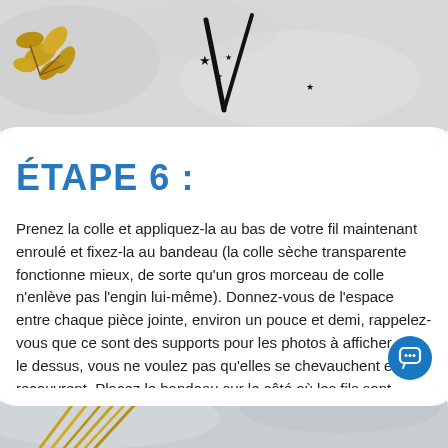[Figure (photo): Top decorative photo showing a craft/DIY scene with gold leaves, snowflake-like decorations, small black stars, and clock hands on a white/marble surface. Rounded bottom corners.]
ÉTAPE 6 :
Prenez la colle et appliquez-la au bas de votre fil maintenant enroulé et fixez-la au bandeau (la colle sèche transparente fonctionne mieux, de sorte qu'un gros morceau de colle n'enlève pas l'engin lui-même). Donnez-vous de l'espace entre chaque pièce jointe, environ un pouce et demi, rappelez-vous que ce sont des supports pour les photos à afficher sur le dessus, vous ne voulez pas qu'elles se chevauchent et se recouvrent. Placez le bandeau sur le côté où les fils sont attachés afin qu'ils sèchent uniformément. Laissez la colle sécher complètement avant de passer à l'ÉTAPE 7.
[Figure (photo): Bottom partial photo showing gold/metallic straw-like sticks and a snowy or icy white background. Rounded top corners.]